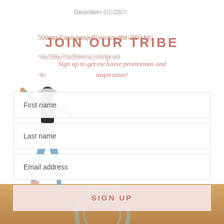December 10, 2020
500mg Capsules[url] Amoxicillin 500 Mg
JOIN OUR TRIBE
Sign up to get exclusive promotions and inspiration!
[Figure (infographic): Email signup form with fields for First name, Last name, Email address and a SIGN UP button, overlaid on a background photo of a person doing a yoga pose on a sandy beach]
TROYKOPINEMOL
December 10, 2020
online-[url] Amoxicillin No Prescription
oimotek.herrebolasitli.com/gimsy.ng
http://meuklo.net/pharm/exiysis21